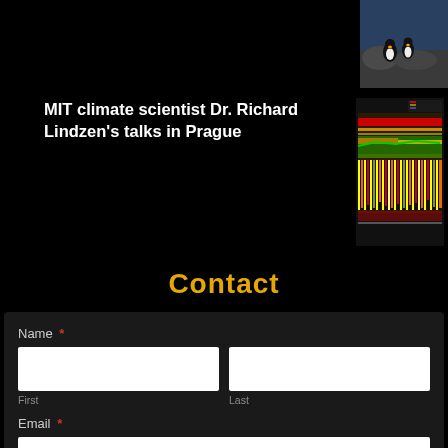[Figure (photo): Penguins on rocks, thumbnail image in top right corner]
MIT climate scientist Dr. Richard Lindzen’s talks in Prague
[Figure (other): Colorful climate chart/graph thumbnail with reds, yellows, and greens]
Contact
Name *
First
Last
Email *
Comment or Message *